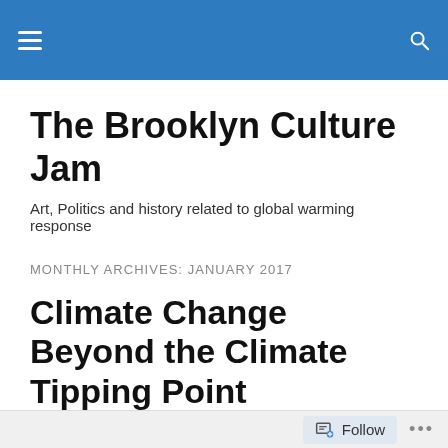The Brooklyn Culture Jam — navigation header bar
The Brooklyn Culture Jam
Art, Politics and history related to global warming response
MONTHLY ARCHIVES: JANUARY 2017
Climate Change Beyond the Climate Tipping Point
A reminder that while 'Muricans are being distracted by politics, we are ignoring the runaway nature of global heating, which now threatens all life in the near term. As
Follow ...